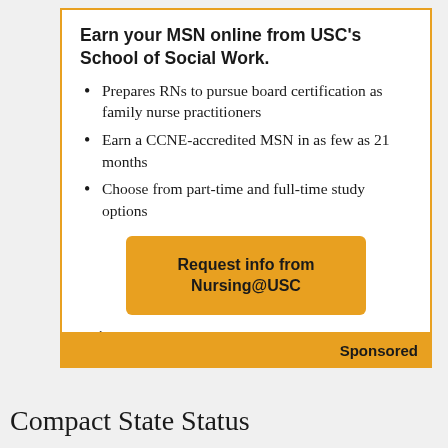Earn your MSN online from USC's School of Social Work.
Prepares RNs to pursue board certification as family nurse practitioners
Earn a CCNE-accredited MSN in as few as 21 months
Choose from part-time and full-time study options
Request info from Nursing@USC
1 U.S. News & World Report, 2022 Best Nursing Schools: Master's. Ranked in 2021.
Sponsored
Compact State Status